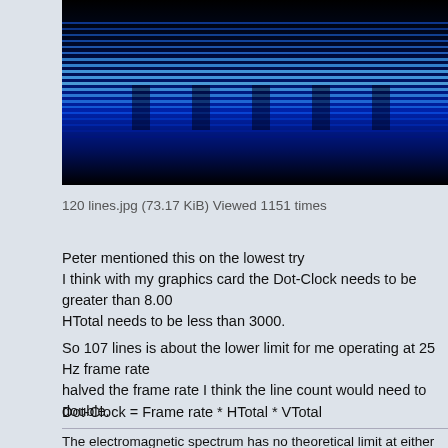[Figure (photo): Blue glowing horizontal scan lines on a dark background, resembling a CRT or display artifact image.]
120 lines.jpg (73.17 KiB) Viewed 1151 times
Peter mentioned this on the lowest try
I think with my graphics card the Dot-Clock needs to be greater than 8.00
HTotal needs to be less than 3000.
So 107 lines is about the lower limit for me operating at 25 Hz frame rate
halved the frame rate I think the line count would need to double.
Dot-Clock = Frame rate * HTotal * VTotal
Modeline "String description" Dot-Clock HDisp HSyncStart HSyncEnd HT
VDisp VSyncStart VSyncEnd VTotal
Modeline "1500x100_25 2.7kHz 25.0Hz" 8.020 1500 2828 2938 2999 10
107 -hsync -vsync
The electromagnetic spectrum has no theoretical limit at either end. If all the mass/ene
Universe is considered a 'limit', then that would be the only real theoretical limit to the r